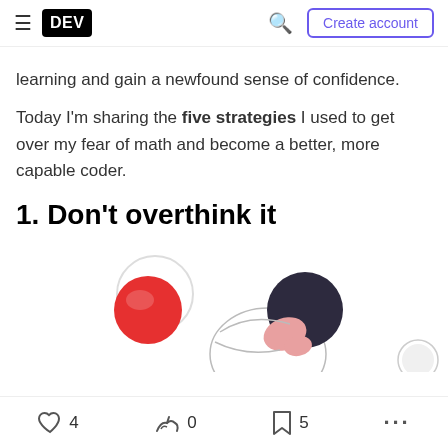DEV | Create account
learning and gain a newfound sense of confidence.
Today I'm sharing the five strategies I used to get over my fear of math and become a better, more capable coder.
1. Don't overthink it
[Figure (illustration): Illustration of a person thinking, with a red ball and circular shapes]
4 likes | 0 unicorns | 5 bookmarks | more options